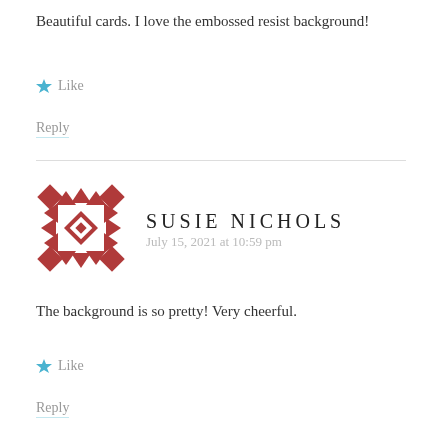Beautiful cards. I love the embossed resist background!
Like
Reply
SUSIE NICHOLS
July 15, 2021 at 10:59 pm
The background is so pretty! Very cheerful.
Like
Reply